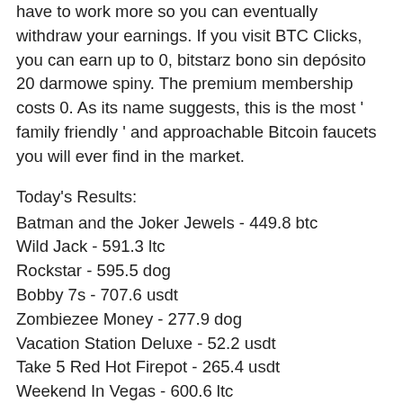have to work more so you can eventually withdraw your earnings. If you visit BTC Clicks, you can earn up to 0, bitstarz bono sin depósito 20 darmowe spiny. The premium membership costs 0. As its name suggests, this is the most ' family friendly ' and approachable Bitcoin faucets you will ever find in the market.
Today's Results:
Batman and the Joker Jewels - 449.8 btc
Wild Jack - 591.3 ltc
Rockstar - 595.5 dog
Bobby 7s - 707.6 usdt
Zombiezee Money - 277.9 dog
Vacation Station Deluxe - 52.2 usdt
Take 5 Red Hot Firepot - 265.4 usdt
Weekend In Vegas - 600.6 ltc
Super Flip - 115.2 eth
The Rift - 469.7 dog
Divine Fortune - 33 eth
Bikini Party - 543.1 eth